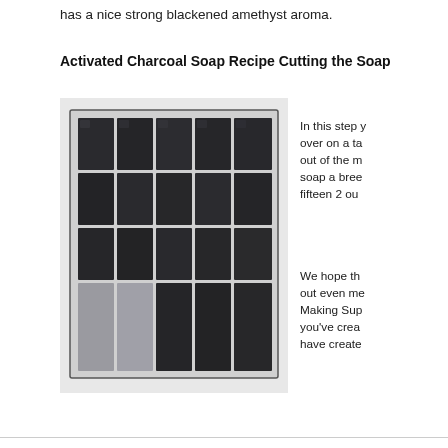has a nice strong blackened amethyst aroma.
Activated Charcoal Soap Recipe Cutting the Soap
[Figure (photo): A grid of dark charcoal soap bars arranged in a 5x4 layout on a flat surface, viewed from above. The soaps are dark grey/black with a slightly shiny, textured surface.]
In this step you over on a ta out of the m soap a bree fifteen 2 ou
We hope th out even me Making Sup you've crea have create